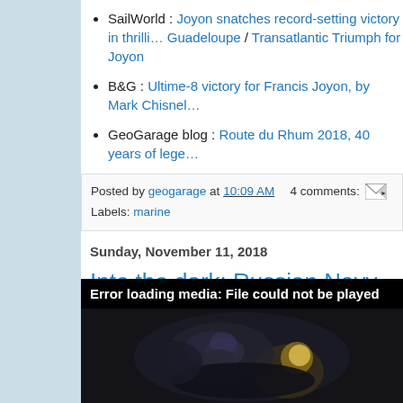SailWorld : Joyon snatches record-setting victory in thrilling finish in Guadeloupe / Transatlantic Triumph for Joyon
B&G : Ultime-8 victory for Francis Joyon, by Mark Chisnell
GeoGarage blog : Route du Rhum 2018, 40 years of lege…
Posted by geogarage at 10:09 AM   4 comments:   Labels: marine
Sunday, November 11, 2018
Into the dark: Russian Navy frogmen b… 416m dive
[Figure (screenshot): Video player showing error message 'Error loading media: File could not be played' with a dark underwater/diver background image below]